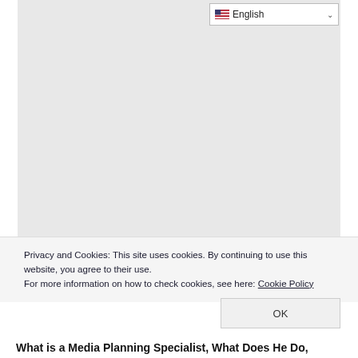[Figure (screenshot): Gray placeholder content area representing a webpage screenshot]
English (language selector dropdown)
Privacy and Cookies: This site uses cookies. By continuing to use this website, you agree to their use.
For more information on how to check cookies, see here: Cookie Policy
OK
What is a Media Planning Specialist, What Does He Do,